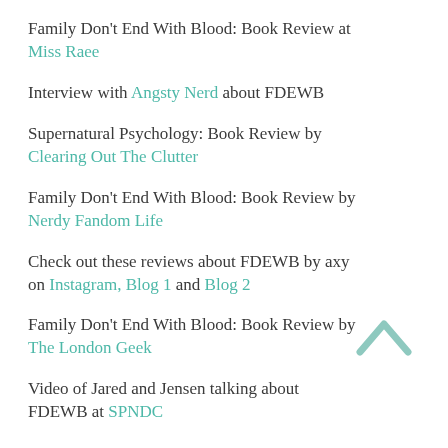Family Don't End With Blood: Book Review at Miss Raee
Interview with Angsty Nerd about FDEWB
Supernatural Psychology: Book Review by Clearing Out The Clutter
Family Don't End With Blood: Book Review by Nerdy Fandom Life
Check out these reviews about FDEWB by axy on Instagram, Blog 1 and Blog 2
Family Don't End With Blood: Book Review by The London Geek
Video of Jared and Jensen talking about FDEWB at SPNDC